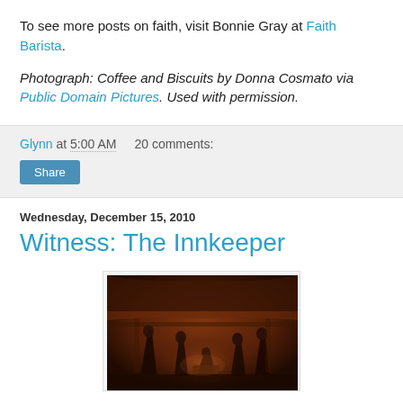To see more posts on faith, visit Bonnie Gray at Faith Barista.
Photograph: Coffee and Biscuits by Donna Cosmato via Public Domain Pictures. Used with permission.
Glynn at 5:00 AM   20 comments:
Share
Wednesday, December 15, 2010
Witness: The Innkeeper
[Figure (photo): Dark reddish-brown toned photograph of a nativity scene diorama with figurines in a stable setting]